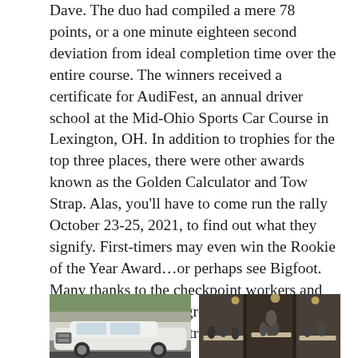Dave. The duo had compiled a mere 78 points, or a one minute eighteen second deviation from ideal completion time over the entire course. The winners received a certificate for AudiFest, an annual driver school at the Mid-Ohio Sports Car Course in Lexington, OH. In addition to trophies for the top three places, there were other awards known as the Golden Calculator and Tow Strap. Alas, you'll have to come run the rally October 23-25, 2021, to find out what they signify. First-timers may even win the Rookie of the Year Award…or perhaps see Bigfoot. Many thanks to the checkpoint workers and Jeff Lapp for another great event that has become an Audi Club tradition.
[Figure (photo): Photo of a white Audi car parked outdoors with autumn foliage in the background]
[Figure (photo): Photo of an indoor dining or event venue with people seated at tables and a speaker or presenter visible]